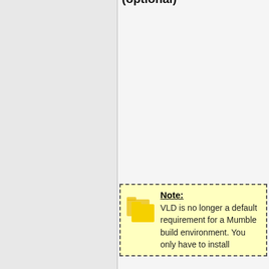(introduced later) has to match the version in the directory name or you (/the compilation process) won't be able to call protoc.exe.
Visual Leak Detector (optional)
Note: VLD is no longer a default requirement for a Mumble build environment. You only have to install